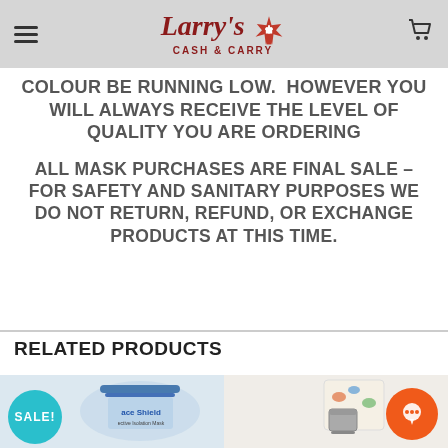Larry's Cash & Carry
COLOUR BE RUNNING LOW.  HOWEVER YOU WILL ALWAYS RECEIVE THE LEVEL OF QUALITY YOU ARE ORDERING
ALL MASK PURCHASES ARE FINAL SALE – FOR SAFETY AND SANITARY PURPOSES WE DO NOT RETURN, REFUND, OR EXCHANGE PRODUCTS AT THIS TIME.
RELATED PRODUCTS
[Figure (photo): Face shield product with blue and white packaging, SALE badge in teal circle]
[Figure (photo): Fabric item with dinosaur print and metal container, SALE badge in teal circle, orange chat bubble icon]